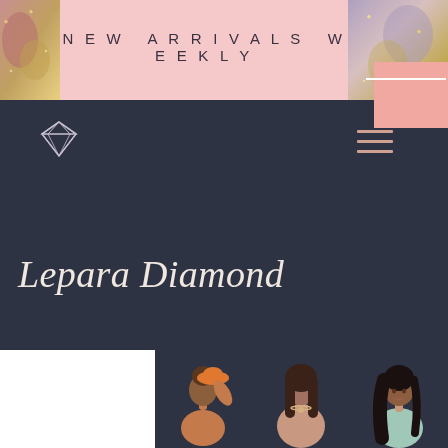NEW ARRIVALS WEEKLY
[Figure (illustration): Diamond gem icon in white outline style on dark navy background]
[Figure (illustration): Three illustrated women figures: one holding an orange hat (back view), one facing forward wearing jewelry, one facing forward with long dark hair in teal top]
Lepara Diamond